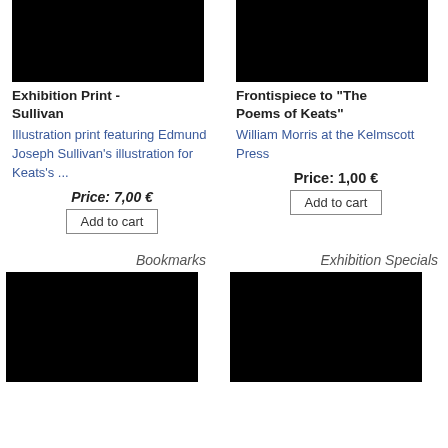[Figure (photo): Black product image for Exhibition Print - Sullivan]
Exhibition Print - Sullivan
Illustration print featuring Edmund Joseph Sullivan's illustration for Keats's ...
Price: 7,00 €
Add to cart
[Figure (photo): Black product image for Frontispiece to "The Poems of Keats"]
Frontispiece to "The Poems of Keats"
William Morris at the Kelmscott Press
Price: 1,00 €
Add to cart
Bookmarks
Exhibition Specials
[Figure (photo): Black product image for Bookmarks]
[Figure (photo): Black product image for Exhibition Specials]